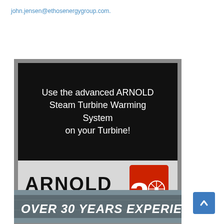john.jensen@ethosenergygroup.com.
[Figure (illustration): Arnold Group advertisement banner. Top section: black background with white text 'Use the advanced ARNOLD Steam Turbine Warming System on your Turbine!'. Bottom section: light gray background with 'ARNOLD GROUP' logo text in black and red stylized 'a' icon with turbine wheel graphic.]
[Figure (photo): Partial image showing turbine equipment with white text overlay reading 'OVER 30 YEARS EXPERIENCE']